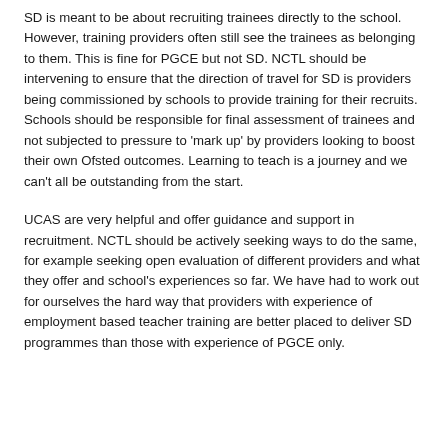SD is meant to be about recruiting trainees directly to the school. However, training providers often still see the trainees as belonging to them. This is fine for PGCE but not SD. NCTL should be intervening to ensure that the direction of travel for SD is providers being commissioned by schools to provide training for their recruits. Schools should be responsible for final assessment of trainees and not subjected to pressure to 'mark up' by providers looking to boost their own Ofsted outcomes. Learning to teach is a journey and we can't all be outstanding from the start.
UCAS are very helpful and offer guidance and support in recruitment. NCTL should be actively seeking ways to do the same, for example seeking open evaluation of different providers and what they offer and school's experiences so far. We have had to work out for ourselves the hard way that providers with experience of employment based teacher training are better placed to deliver SD programmes than those with experience of PGCE only.